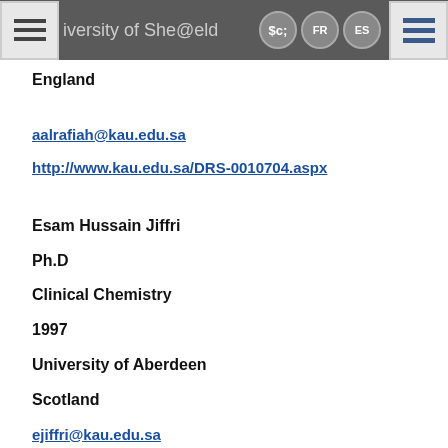University of Sheffield  FR  ES
England
aalrafiah@kau.edu.sa
http://www.kau.edu.sa/DRS-0010704.aspx
Esam Hussain Jiffri
Ph.D
Clinical Chemistry
1997
University of Aberdeen
Scotland
ejiffri@kau.edu.sa